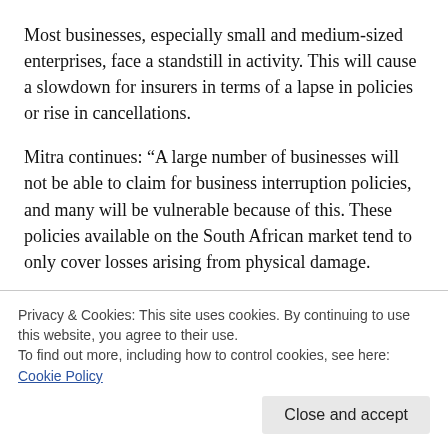Most businesses, especially small and medium-sized enterprises, face a standstill in activity. This will cause a slowdown for insurers in terms of a lapse in policies or rise in cancellations.
Mitra continues: “A large number of businesses will not be able to claim for business interruption policies, and many will be vulnerable because of this. These policies available on the South African market tend to only cover losses arising from physical damage.
“One area for growth will be in cyber insurance. The potential threat associated with cyber incidents during the pandemic is
Privacy & Cookies: This site uses cookies. By continuing to use this website, you agree to their use.
To find out more, including how to control cookies, see here: Cookie Policy
Close and accept